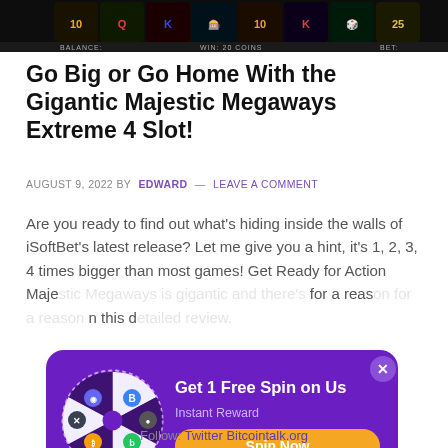[Figure (screenshot): Screenshot of a slot machine game interface with dark background, showing game reels with card symbols and colored icons. BALANCE and BET labels visible at bottom.]
Go Big or Go Home With the Gigantic Majestic Megaways Extreme 4 Slot!
AUGUST 9, 2022 BY EDWARD — LEAVE A COMMENT
Are you ready to find out what's hiding inside the walls of iSoftBet's latest release? Let me give you a hint, it's 1, 2, 3, 4 times bigger than most games! Get Ready for Action Majestic Megaways is gigantic and there's a reason for a reason … in this …
[Figure (infographic): Purple popup modal overlay with spinning wheel/prize wheel graphic on left showing cryptocurrency icons in colored segments. Right side shows 'Get 1 Free Spin on Us', 'Instant Reward', and orange 'Spin Now' button. Close X button at top right.]
Follow: Twitter Bitcointalk.org